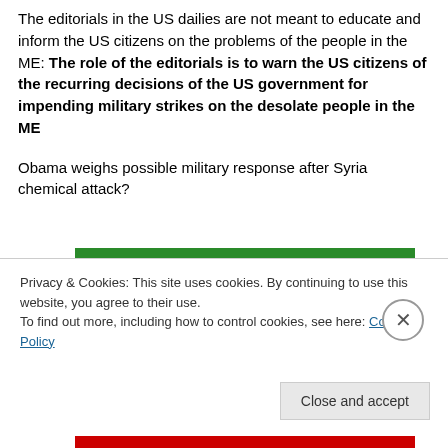The editorials in the US dailies are not meant to educate and inform the US citizens on the problems of the people in the ME: The role of the editorials is to warn the US citizens of the recurring decisions of the US government for impending military strikes on the desolate people in the ME

Obama weighs possible military response after Syria chemical attack?
[Figure (other): Green advertisement banner for WordPress backup plugin]
Privacy & Cookies: This site uses cookies. By continuing to use this website, you agree to their use.
To find out more, including how to control cookies, see here: Cookie Policy